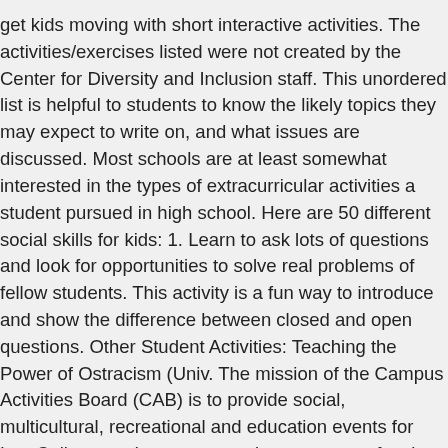get kids moving with short interactive activities. The activities/exercises listed were not created by the Center for Diversity and Inclusion staff. This unordered list is helpful to students to know the likely topics they may expect to write on, and what issues are discussed. Most schools are at least somewhat interested in the types of extracurricular activities a student pursued in high school. Here are 50 different social skills for kids: 1. Learn to ask lots of questions and look for opportunities to solve real problems of fellow students. This activity is a fun way to introduce and show the difference between closed and open questions. Other Student Activities: Teaching the Power of Ostracism (Univ. The mission of the Campus Activities Board (CAB) is to provide social, multicultural, recreational and education events for Lee College students, community supporters, faculty, and staff. For a resource of ideas for online educational activities, check out the Online Teaching Activity Index from the Illinois Online Network. Useful learning activities are ones where the student is able to take what they have